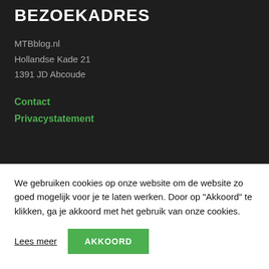BEZOEKADRES
MTBblog.nl
Hollandse Kade 21
1391 JD Abcoude
Contact
Privacystatement
We gebruiken cookies op onze website om de website zo goed mogelijk voor je te laten werken. Door op "Akkoord" te klikken, ga je akkoord met het gebruik van onze cookies.
Lees meer
AKKOORD